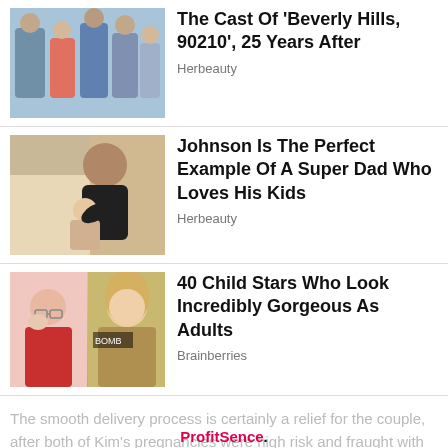[Figure (photo): Group photo of cast members for Beverly Hills 90210]
The Cast Of 'Beverly Hills, 90210', 25 Years After
Herbeauty
[Figure (photo): An older bald man doing a young girl's hair]
Johnson Is The Perfect Example Of A Super Dad Who Loves His Kids
Herbeauty
[Figure (photo): Two images side by side: a young girl in glasses and a blonde woman at an event]
40 Child Stars Who Look Incredibly Gorgeous As Adults
Brainberries
Close
The smooth delivery process is certainly a relief for the couple, after both of Kim's pregnancies were high risk and fraught with complications.
ProfitSence.